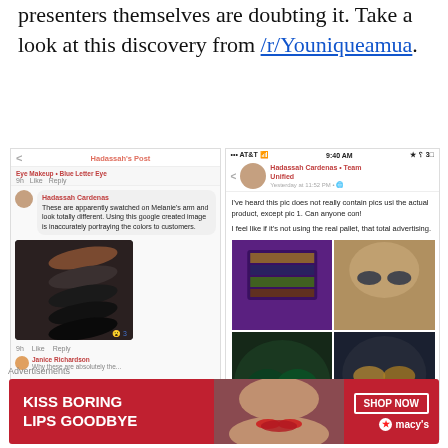presenters themselves are doubting it. Take a look at this discovery from /r/Youniqueamua.
[Figure (screenshot): Left: Facebook post screenshot showing a comment about eye makeup swatches being inaccurate, with a photo of eyeshadow swatches on an arm. Right: Phone screenshot showing a message thread with someone asking about whether product images are real, with a grid of 4 makeup/eyeshadow images.]
Advertisements
[Figure (screenshot): Advertisement banner: KISS BORING LIPS GOODBYE with SHOP NOW and macys logo on red background with a woman's face.]